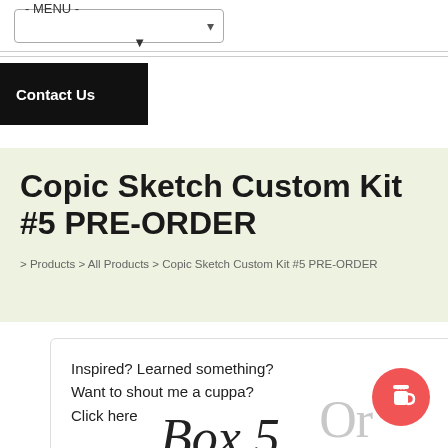- MENU -
Contact Us
Copic Sketch Custom Kit #5 PRE-ORDER
> Products > All Products > Copic Sketch Custom Kit #5 PRE-ORDER
Inspired? Learned something? Want to shout me a cuppa? Click here
Or
Box 5